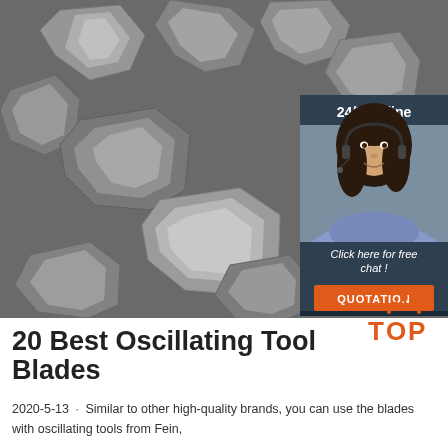[Figure (photo): Close-up microscopic or macro photograph of irregular gray mineral/abrasive particles (like grit or sand particles) on a dark gray background, with a '24/7 Online' chat widget overlay on the right side showing a woman with a headset, 'Click here for free chat!' text, and an orange 'QUOTATION' button.]
[Figure (logo): TOP logo with orange dots arranged in a triangle above the word 'TOP' in bold orange letters with 'P' styled distinctively]
20 Best Oscillating Tool Blades
2020-5-13 · Similar to other high-quality brands, you can use the blades with oscillating tools from Fein,